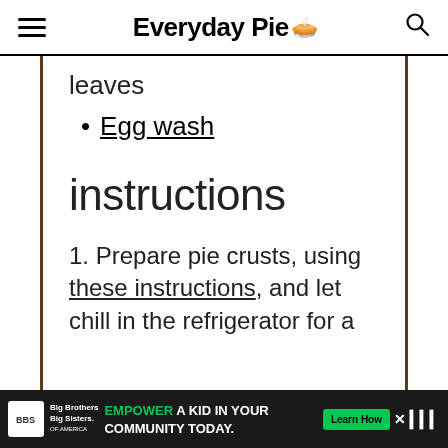Everyday Pie
leaves
Egg wash
instructions
1. Prepare pie crusts, using these instructions, and let chill in the refrigerator for a